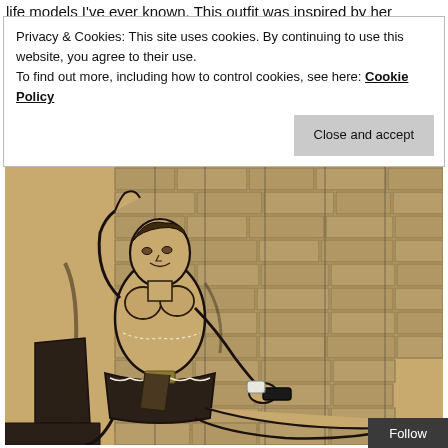life models I've ever known. This outfit was inspired by her
Privacy & Cookies: This site uses cookies. By continuing to use this website, you agree to their use.
To find out more, including how to control cookies, see here: Cookie Policy
Close and accept
[Figure (illustration): A charcoal and sepia illustration of a reclining female figure against a brick wall background, drawn in an expressive sketch style.]
Follow